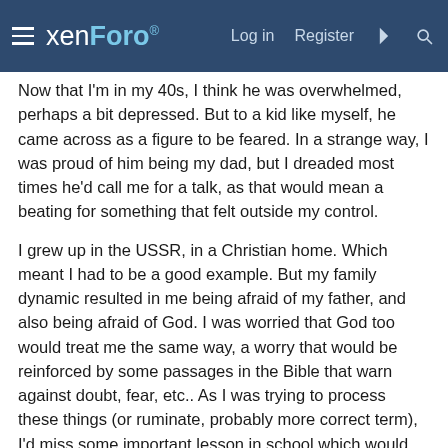xenForo — Log in | Register
Now that I'm in my 40s, I think he was overwhelmed, perhaps a bit depressed. But to a kid like myself, he came across as a figure to be feared. In a strange way, I was proud of him being my dad, but I dreaded most times he'd call me for a talk, as that would mean a beating for something that felt outside my control.
I grew up in the USSR, in a Christian home. Which meant I had to be a good example. But my family dynamic resulted in me being afraid of my father, and also being afraid of God. I was worried that God too would treat me the same way, a worry that would be reinforced by some passages in the Bible that warn against doubt, fear, etc.. As I was trying to process these things (or ruminate, probably more correct term), I'd miss some important lesson in school which would result in a beating at home.
Long story short, I'm at a point now where I'm 99% an agnostic atheist. However, that 1% causes me much doubt and suffering as I can imagine a being who hides from people and will then